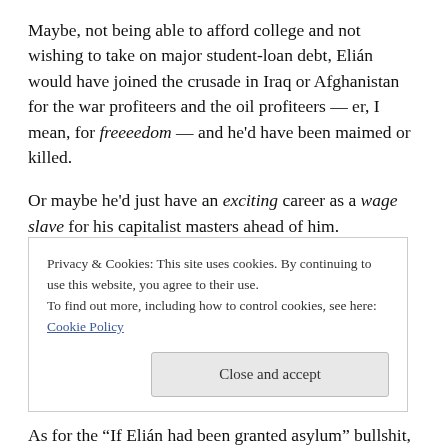Maybe, not being able to afford college and not wishing to take on major student-loan debt, Elián would have joined the crusade in Iraq or Afghanistan for the war profiteers and the oil profiteers — er, I mean, for freeeedom — and he'd have been maimed or killed.
Or maybe he'd just have an exciting career as a wage slave for his capitalist masters ahead of him.
Oh, yeah, it's sooooo much better here in the United States of Amurica, with our robust economy and freedom
Privacy & Cookies: This site uses cookies. By continuing to use this website, you agree to their use.
To find out more, including how to control cookies, see here: Cookie Policy
As for the “If Elián had been granted asylum” bullshit,